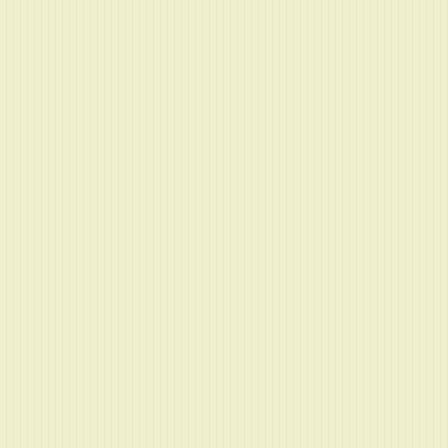with an even more formidable mistrust. I ne greeted, so that once the mistrust had fade quarters, I could organize and lead the pro (A voice: Distasteful! How can one admit to
In order to reach the goal I had set to myse entrust no one with my secret, absolutely n friends, not even my wife, at least in the be have turned crazy in the eyes of those who could ruin everything. And I was playing for opponent. (A voice: Oh! yes!) On the contr and vexed annoyance of others, were my b expected—I was set under close scrutiny d
Nevertheless, a few particulars will strike a now.
Expulsion from the Anticlerical
Thus, after the publication of the letter in w writings, the Parisian groups of the Anticler assembly to vote upon my expulsion. Peop there; the Leaguers were baffled, and my p since I had not come to defy those from wh either to try and gain them over, as a conve fervor. No! I came to the meeting under the though having demitted for more than three and find the opportunity to place a word I c would be ripe.
Most of these anticlerical leaguers were my moved myself...